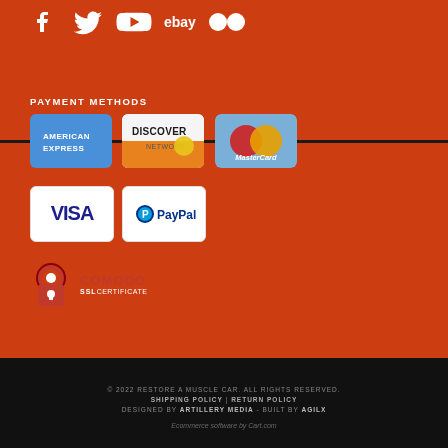[Figure (logo): Social media icons: Facebook, Twitter, YouTube, eBay, Flickr]
PAYMENT METHODS
[Figure (logo): American Express payment card logo]
[Figure (logo): Discover Network payment card logo]
[Figure (logo): MasterCard payment card logo]
[Figure (logo): VISA payment card logo]
[Figure (logo): PayPal payment logo]
[Figure (logo): Comodo SSL Certificate logo]
© 2022 RESTORE A MUSCLE CAR. ALL RIGHTS RESERVED. SHIPPING POLICY | RETURN POLICY DESIGNED BY ARTILLERY MEDIA - BUILT BY AGILX
Ecommerce software by Cart.com